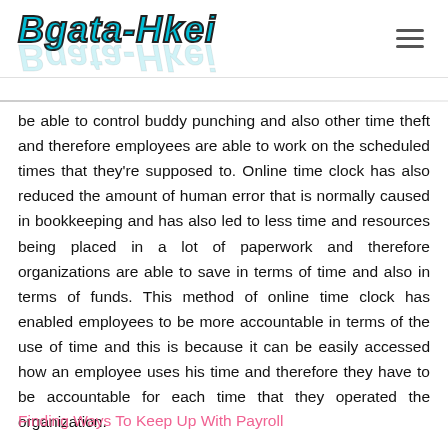Bgata-Hkei
be able to control buddy punching and also other time theft and therefore employees are able to work on the scheduled times that they're supposed to. Online time clock has also reduced the amount of human error that is normally caused in bookkeeping and has also led to less time and resources being placed in a lot of paperwork and therefore organizations are able to save in terms of time and also in terms of funds. This method of online time clock has enabled employees to be more accountable in terms of the use of time and this is because it can be easily accessed how an employee uses his time and therefore they have to be accountable for each time that they operated the organization.
Finding Ways To Keep Up With Payroll